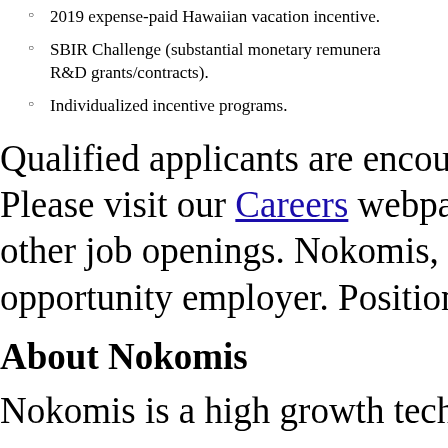2019 expense-paid Hawaiian vacation incentive.
SBIR Challenge (substantial monetary remuneration R&D grants/contracts).
Individualized incentive programs.
Qualified applicants are encouraged to Please visit our Careers webpage for more other job openings. Nokomis, Inc. is p opportunity employer. Positions are op
About Nokomis
Nokomis is a high growth technology